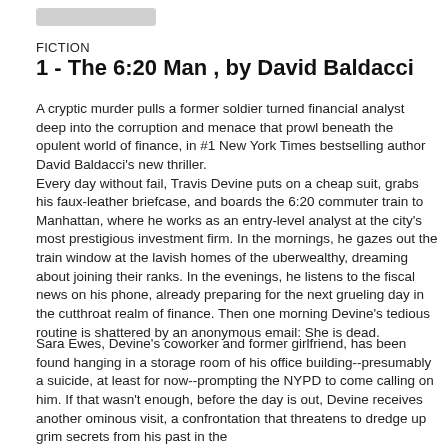FICTION
1 - The 6:20 Man , by David Baldacci
A cryptic murder pulls a former soldier turned financial analyst deep into the corruption and menace that prowl beneath the opulent world of finance, in #1 New York Times bestselling author David Baldacci's new thriller.
Every day without fail, Travis Devine puts on a cheap suit, grabs his faux-leather briefcase, and boards the 6:20 commuter train to Manhattan, where he works as an entry-level analyst at the city's most prestigious investment firm. In the mornings, he gazes out the train window at the lavish homes of the uberwealthy, dreaming about joining their ranks. In the evenings, he listens to the fiscal news on his phone, already preparing for the next grueling day in the cutthroat realm of finance. Then one morning Devine's tedious routine is shattered by an anonymous email: She is dead.
Sara Ewes, Devine's coworker and former girlfriend, has been found hanging in a storage room of his office building--presumably a suicide, at least for now--prompting the NYPD to come calling on him. If that wasn't enough, before the day is out, Devine receives another ominous visit, a confrontation that threatens to dredge up grim secrets from his past in the